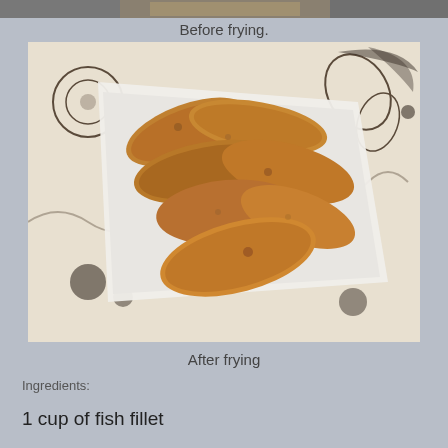[Figure (photo): Top strip: partial photo of fish before frying on a plate]
Before frying.
[Figure (photo): Photo of fried fish pieces on a white square dish with floral tablecloth background. After frying.]
After frying
Ingredients:
1 cup of fish fillet